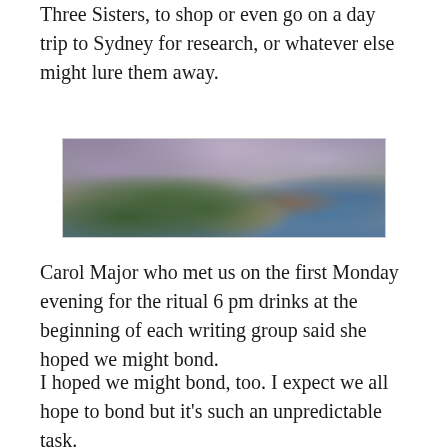Three Sisters, to shop or even go on a day trip to Sydney for research, or whatever else might lure them away.
[Figure (photo): Panoramic landscape photograph of the Three Sisters rock formation in the Blue Mountains, Australia, with lush green forest in the foreground and a blue hazy mountain range in the background under a dramatic purple and pink sky.]
Carol Major who met us on the first Monday evening for the ritual 6 pm drinks at the beginning of each writing group said she hoped we might bond.
I hoped we might bond, too. I expect we all hope to bond but it’s such an unpredictable task.